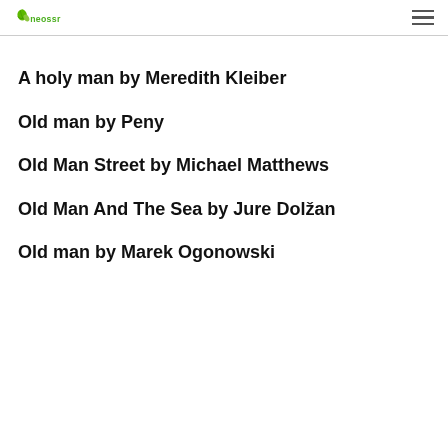Neossr (logo)
A holy man by Meredith Kleiber
Old man by Peny
Old Man Street by Michael Matthews
Old Man And The Sea by Jure Dolžan
Old man by Marek Ogonowski